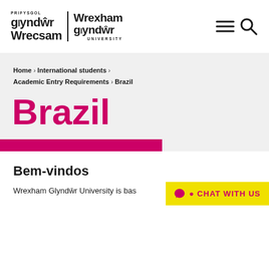[Figure (logo): Wrexham Glyndŵr University logo — bilingual Welsh/English with Prifysgol Glyndŵr Wrecsam on the left and Wrexham Glyndŵr University on the right, separated by a vertical rule]
[Figure (other): Hamburger menu icon and search (magnifying glass) icon in the top right corner]
Home > International students > Academic Entry Requirements > Brazil
Brazil
Bem-vindos
Wrexham Glyndŵr University is bas